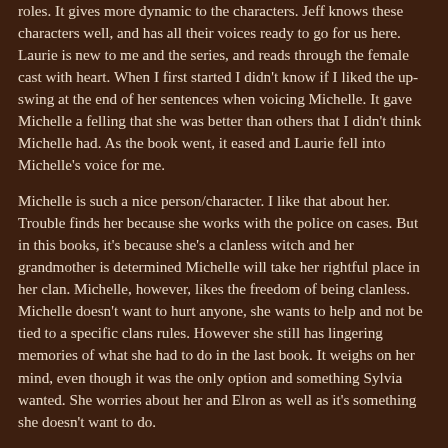roles. It gives more dynamic to the characters. Jeff knows these characters well, and has all their voices ready to go for us here. Laurie is new to me and the series, and reads through the female cast with heart. When I first started I didn't know if I liked the up-swing at the end of her sentences when voicing Michelle. It gave Michelle a felling that she was better than others that I didn't think Michelle had. As the book went, it eased and Laurie fell into Michelle's voice for me.
Michelle is such a nice person/character. I like that about her. Trouble finds her because she works with the police on cases. But in this books, it's because she's a clanless witch and her grandmother is determined Michelle will take her rightful place in her clan. Michelle, however, likes the freedom of being clanless. Michelle doesn't want to hurt anyone, she wants to help and not be tied to a specific clans rules. However she still has lingering memories of what she had to do in the last book. It weighs on her mind, even though it was the only option and something Sylvia wanted. She worries about her and Elron as well as it's something she doesn't want to do.
Oh my. Elron is such a great person. He's an elf, and he's fighting his protecting instinct to show it means to Michelle. Elron is falling...